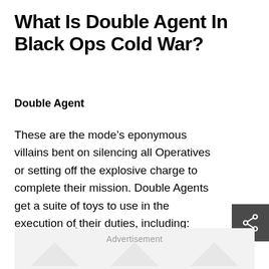What Is Double Agent In Black Ops Cold War?
Double Agent
These are the mode’s eponymous villains bent on silencing all Operatives or setting off the explosive charge to complete their mission. Double Agents get a suite of toys to use in the execution of their duties, including:
Gas Mines
[Figure (other): Advertisement placeholder with watermark arrows on grey background]